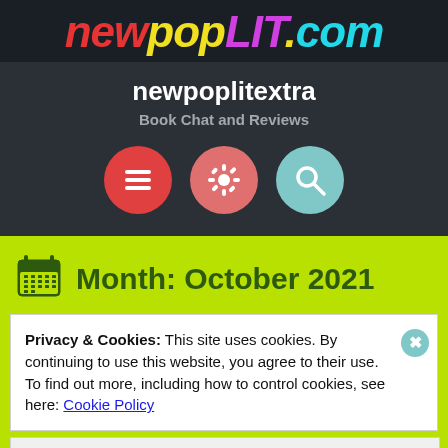newpopLIT.com
newpoplitextra
Book Chat and Reviews
[Figure (infographic): Three circular icon buttons: hamburger menu (red), settings gear (salmon/pink), search magnifier (teal)]
Month: October 2021
Privacy & Cookies: This site uses cookies. By continuing to use this website, you agree to their use.
To find out more, including how to control cookies, see here: Cookie Policy
Close and accept